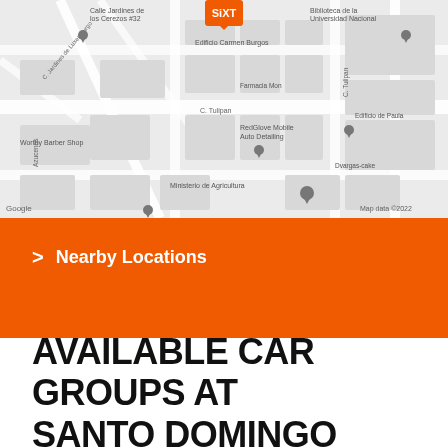[Figure (map): Google Maps view of Santo Domingo area showing streets including C. Jardines de Luxemburgo, C. Tulipan, Azucenas, with locations such as Calle Jardines de los Cerezos #32, Edificio Carmen Burgos, Farmacia Mon, Worthy Barber Shop, RedGlove Mobile Auto Detailing, Ministerio de Agricultura, Helados Maxytetus Venezolanas, Biblioteca de la Universidad Nacional, Edificio de Paula, Dvargas-cake, with a Sixt marker pin at top center. Map data ©2022 Google.]
> Nearby Locations
AVAILABLE CAR GROUPS AT SANTO DOMINGO